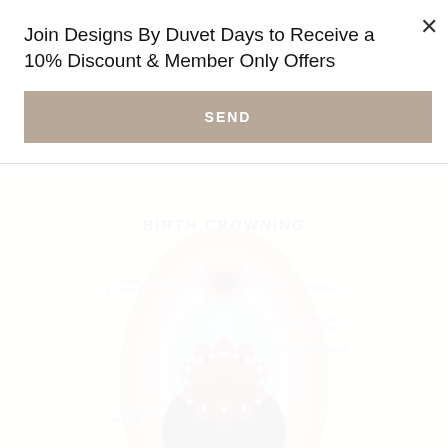Join Designs By Duvet Days to Receive a 10% Discount & Member Only Offers
SEND
[Figure (illustration): Birth Crowning Anatomy diagram showing a decorative/artistic anatomical illustration of the vulva during birth crowning, with labels for Glans Clitoris, Prepuce, Urethal Opening, Vestibule, and Labia Majora. The illustration uses colorful mandala-like artistic style with layers of pink, teal, and dark tones.]